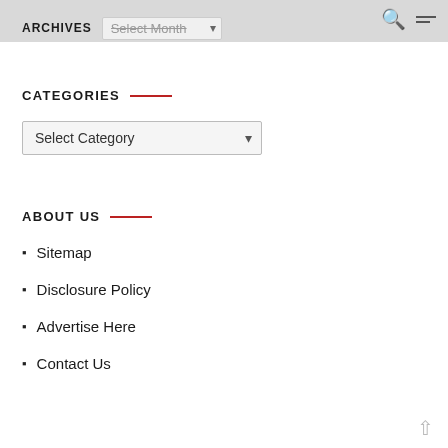ARCHIVES Select Month
CATEGORIES
Select Category
ABOUT US
Sitemap
Disclosure Policy
Advertise Here
Contact Us